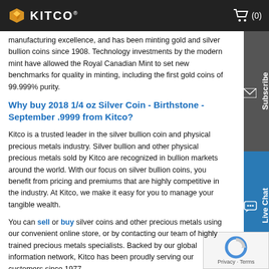Kitco - (0)
manufacturing excellence, and has been minting gold and silver bullion coins since 1908. Technology investments by the modern mint have allowed the Royal Canadian Mint to set new benchmarks for quality in minting, including the first gold coins of 99.999% purity.
Why buy 2018 1/4 oz Silver Coin - Birthstone - September .9999 from Kitco?
Kitco is a trusted leader in the silver bullion coin and physical precious metals industry. Silver bullion and other physical precious metals sold by Kitco are recognized in bullion markets around the world. With our focus on silver bullion coins, you benefit from pricing and premiums that are highly competitive in the industry. At Kitco, we make it easy for you to manage your tangible wealth.
You can sell or buy silver coins and other precious metals using our convenient online store, or by contacting our team of highly trained precious metals specialists. Backed by our global information network, Kitco has been proudly serving our customers since 1977.